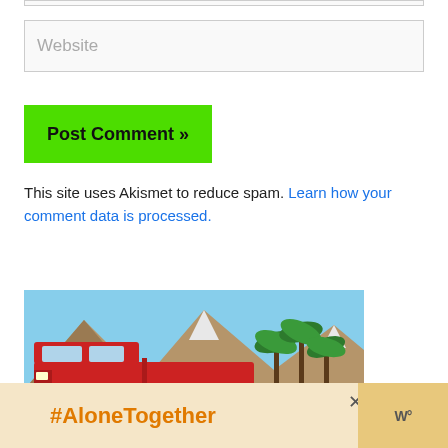Website
Post Comment »
This site uses Akismet to reduce spam. Learn how your comment data is processed.
[Figure (photo): A red vintage pickup truck parked in front of palm trees and mountains under a blue sky.]
[Figure (infographic): #AloneTogether advertisement banner with a woman at a laptop and a W logo.]